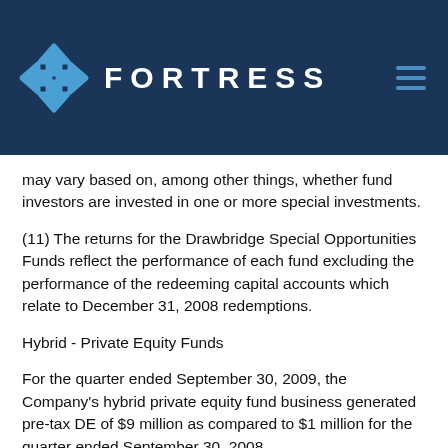FORTRESS
may vary based on, among other things, whether fund investors are invested in one or more special investments.
(11) The returns for the Drawbridge Special Opportunities Funds reflect the performance of each fund excluding the performance of the redeeming capital accounts which relate to December 31, 2008 redemptions.
Hybrid - Private Equity Funds
For the quarter ended September 30, 2009, the Company's hybrid private equity fund business generated pre-tax DE of $9 million as compared to $1 million for the quarter ended September 30, 2008.